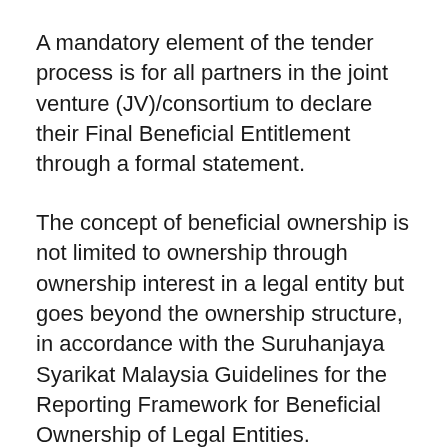A mandatory element of the tender process is for all partners in the joint venture (JV)/consortium to declare their Final Beneficial Entitlement through a formal statement.
The concept of beneficial ownership is not limited to ownership through ownership interest in a legal entity but goes beyond the ownership structure, in accordance with the Suruhanjaya Syarikat Malaysia Guidelines for the Reporting Framework for Beneficial Ownership of Legal Entities.
It covers both from the perspective of ownership and control. The minimum percentage required for an Effective Beneficial Entitlement is 21%.